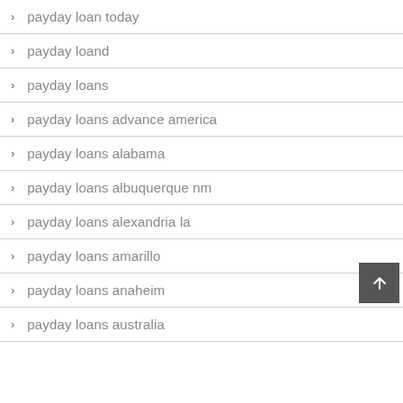payday loan today
payday loand
payday loans
payday loans advance america
payday loans alabama
payday loans albuquerque nm
payday loans alexandria la
payday loans amarillo
payday loans anaheim
payday loans australia